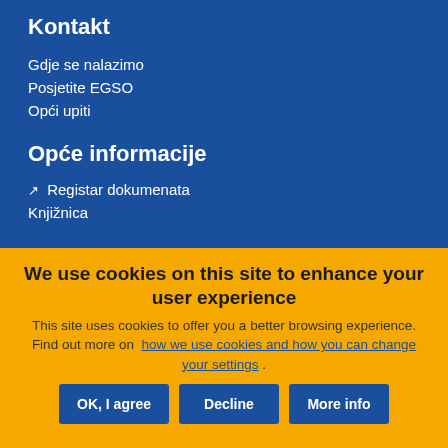Kontakt
Gdje se nalazimo
Posjetite EGSO
Opći upiti
Opće informacije
↗ Registar dokumenata
Knjižnica
We use cookies on this site to enhance your user experience
This site uses cookies to offer you a better browsing experience. Find out more on how we use cookies and how you can change your settings .
OK, I agree | Decline | More info